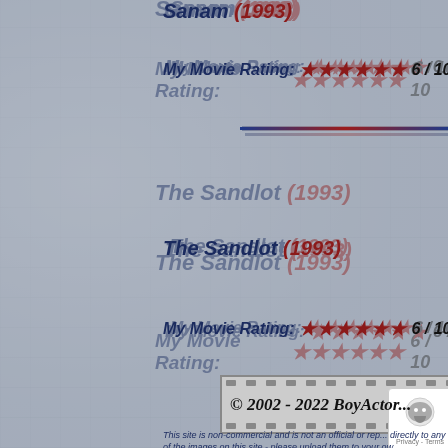Sanam (1993)
My Movie Rating: ★★★★★★ 6 / 10
The Sandlot (1993)
My Movie Rating: ★★★★★★ 6 / 10
The Sandlot 2 (2005)
My Movie Rating: ★★★★ 4 / 10
© 2002 - 2022 BoyActor...
This site is non-commercial and is not an official or rep... directly to any of the images on this site - please upload them to your ow...